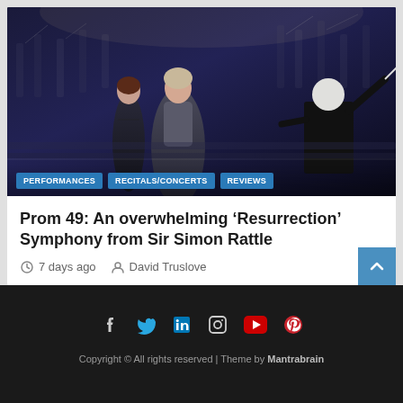[Figure (photo): Orchestra concert photo showing two female singers in evening gowns on stage with conductor visible from behind conducting the orchestra, blue/dark dramatic lighting]
PERFORMANCES
RECITALS/CONCERTS
REVIEWS
Prom 49: An overwhelming ‘Resurrection’ Symphony from Sir Simon Rattle
7 days ago   David Truslove
Copyright © All rights reserved | Theme by Mantrabrain